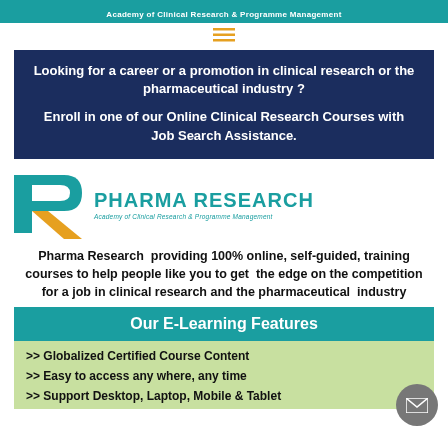Academy of Clinical Research & Programme Management
[Figure (other): Hamburger menu icon (three horizontal lines) in orange/gold color]
Looking for a career or a promotion in clinical research or the pharmaceutical industry ? Enroll in one of our Online Clinical Research Courses with Job Search Assistance.
[Figure (logo): Pharma Research logo with teal and orange R icon and text: PHARMA RESEARCH Academy of Clinical Research & Programme Management]
Pharma Research providing 100% online, self-guided, training courses to help people like you to get the edge on the competition for a job in clinical research and the pharmaceutical industry
Our E-Learning Features
>> Globalized Certified Course Content
>> Easy to access any where, any time
>> Support Desktop, Laptop, Mobile & Tablet